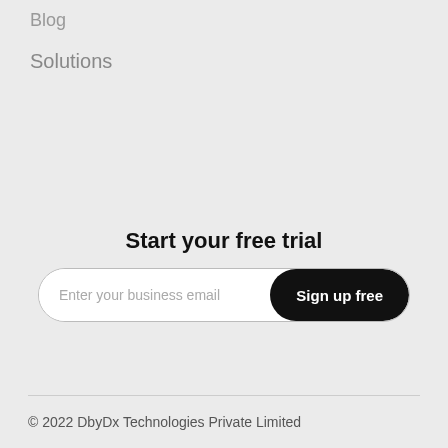Blog
Solutions
Start your free trial
Enter your business email
Sign up free
© 2022 DbyDx Technologies Private Limited